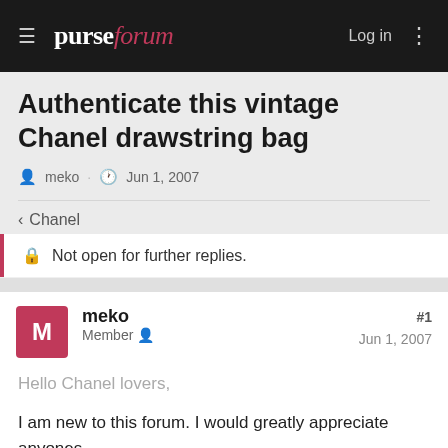purseforum — Log in
Authenticate this vintage Chanel drawstring bag
meko · Jun 1, 2007
< Chanel
Not open for further replies.
meko
Member
#1
Jun 1, 2007
Hello Chanel lovers,
I am new to this forum. I would greatly appreciate anyones